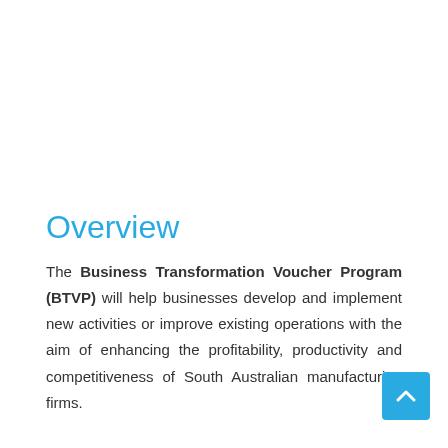Overview
The Business Transformation Voucher Program (BTVP) will help businesses develop and implement new activities or improve existing operations with the aim of enhancing the profitability, productivity and competitiveness of South Australian manufacturing firms.